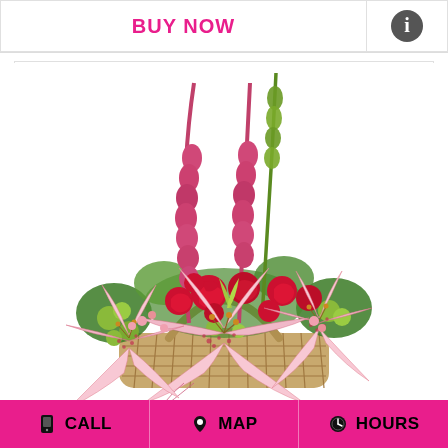BUY NOW
[Figure (photo): Flower arrangement in a wicker basket featuring pink stargazer lilies, red roses, pink snapdragons, and green foliage on a white background]
CALL   MAP   HOURS